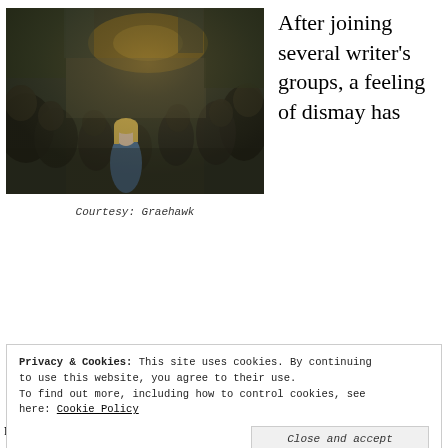[Figure (photo): Dark atmospheric painting or digitally painted image of a crowded street scene with a young blonde woman in a blue jacket standing out among a dark, shadowy crowd of people in a narrow alley or marketplace.]
Courtesy: Graehawk
After joining several writer's groups, a feeling of dismay has
Privacy & Cookies: This site uses cookies. By continuing to use this website, you agree to their use.
To find out more, including how to control cookies, see here: Cookie Policy
Close and accept
novelist, writer, author, seems to be a common goal.